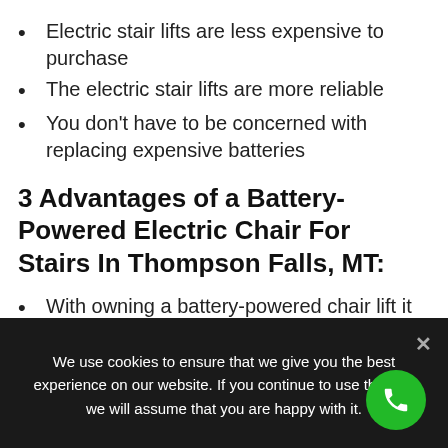Electric stair lifts are less expensive to purchase
The electric stair lifts are more reliable
You don't have to be concerned with replacing expensive batteries
3 Advantages of a Battery-Powered Electric Chair For Stairs In Thompson Falls, MT:
With owning a battery-powered chair lift it will not increase your home electric bill
The battery-Powered stair lift replacement batteries can last up to 12-18 months
We use cookies to ensure that we give you the best experience on our website. If you continue to use this site we will assume that you are happy with it.